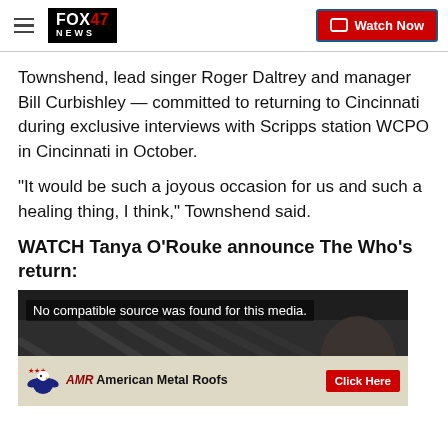FOX 47 NEWS — Watch Now
Townshend, lead singer Roger Daltrey and manager Bill Curbishley — committed to returning to Cincinnati during exclusive interviews with Scripps station WCPO in Cincinnati in October.
"It would be such a joyous occasion for us and such a healing thing, I think," Townshend said.
WATCH Tanya O'Rouke announce The Who's return:
[Figure (screenshot): Video player showing 'No compatible source was found for this media.' with an American Metal Roofs advertisement overlay featuring a red 'Click Here' button.]